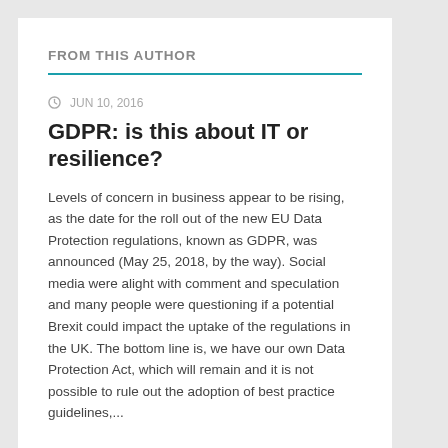FROM THIS AUTHOR
JUN 10, 2016
GDPR: is this about IT or resilience?
Levels of concern in business appear to be rising, as the date for the roll out of the new EU Data Protection regulations, known as GDPR, was announced (May 25, 2018, by the way). Social media were alight with comment and speculation and many people were questioning if a potential Brexit could impact the uptake of the regulations in the UK. The bottom line is, we have our own Data Protection Act, which will remain and it is not possible to rule out the adoption of best practice guidelines,...
READ MORE ▶